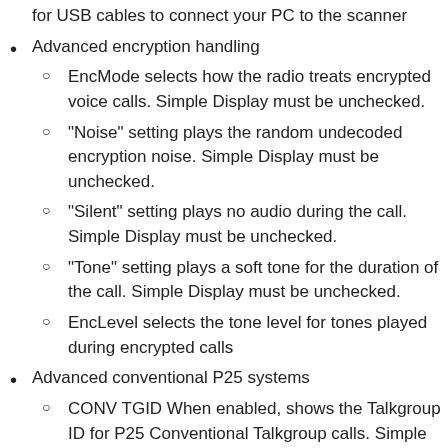for USB cables to connect your PC to the scanner
Advanced encryption handling
EncMode selects how the radio treats encrypted voice calls. Simple Display must be unchecked.
“Noise” setting plays the random undecoded encryption noise. Simple Display must be unchecked.
“Silent” setting plays no audio during the call. Simple Display must be unchecked.
“Tone” setting plays a soft tone for the duration of the call. Simple Display must be unchecked.
EncLevel selects the tone level for tones played during encrypted calls
Advanced conventional P25 systems
CONV TGID When enabled, shows the Talkgroup ID for P25 Conventional Talkgroup calls. Simple Display must be unchecked.